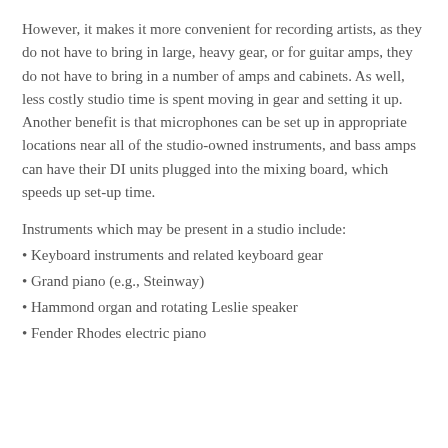However, it makes it more convenient for recording artists, as they do not have to bring in large, heavy gear, or for guitar amps, they do not have to bring in a number of amps and cabinets. As well, less costly studio time is spent moving in gear and setting it up. Another benefit is that microphones can be set up in appropriate locations near all of the studio-owned instruments, and bass amps can have their DI units plugged into the mixing board, which speeds up set-up time.
Instruments which may be present in a studio include:
Keyboard instruments and related keyboard gear
Grand piano (e.g., Steinway)
Hammond organ and rotating Leslie speaker
Fender Rhodes electric piano